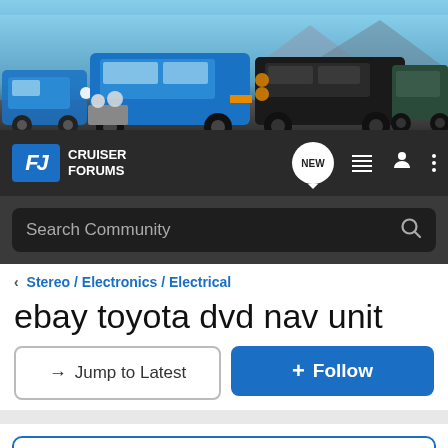[Figure (photo): Banner showing multiple Toyota FJ Cruiser SUVs in blue and black colors on a road/desert background, with a dark gradient at the bottom]
FJ CRUISER FORUMS — navigation bar with NEW button, list icon, user icon, and menu icon, plus Search Community search bar
< Stereo / Electronics / Electrical
ebay toyota dvd nav unit
→ Jump to Latest   ⊕ Follow
Hey everyone! Enter your ride HERE to be a part of August's Ride of the Month Challenge!